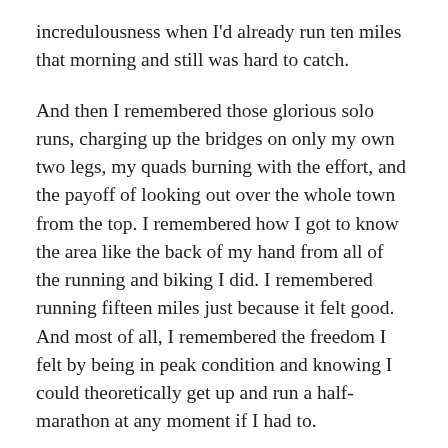incredulousness when I'd already run ten miles that morning and still was hard to catch.
And then I remembered those glorious solo runs, charging up the bridges on only my own two legs, my quads burning with the effort, and the payoff of looking out over the whole town from the top. I remembered how I got to know the area like the back of my hand from all of the running and biking I did. I remembered running fifteen miles just because it felt good. And most of all, I remembered the freedom I felt by being in peak condition and knowing I could theoretically get up and run a half-marathon at any moment if I had to.
BUT TODAY, MY GOAL IS TO SIMPLY BE ABLE TO WALK AROUND THE BLOCK AGAIN.
“I’m sick all the time,” I remember telling my PCP